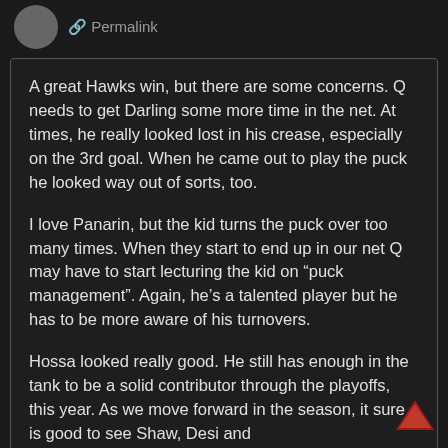Permalink
A great Hawks win, but there are some concerns. Q needs to get Darling some more time in the net. At times, he really looked lost in his crease, especially on the 3rd goal. When he came out to play the puck he looked way out of sorts, too.
I love Panarin, but the kid turns the puck over too many times. When they start to end up in our net Q may have to start lecturing the kid on “puck management”. Again, he’s a talented player but he has to be more aware of his turnovers.
Hossa looked really good. He still has enough in the tank to be a solid contributor through the playoffs, this year. As we move forward in the season, it sure is good to see Shaw, Desi and